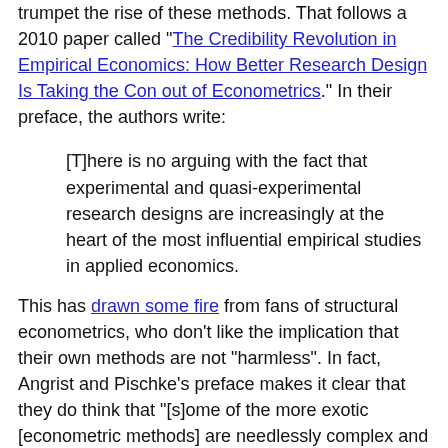trumpet the rise of these methods. That follows a 2010 paper called "The Credibility Revolution in Empirical Economics: How Better Research Design Is Taking the Con out of Econometrics." In their preface, the authors write:
[T]here is no arguing with the fact that experimental and quasi-experimental research designs are increasingly at the heart of the most influential empirical studies in applied economics.
This has drawn some fire from fans of structural econometrics, who don't like the implication that their own methods are not "harmless". In fact, Angrist and Pischke's preface makes it clear that they do think that "[s]ome of the more exotic [econometric methods] are needlessly complex and may even be harmful."
But when they say their methods are becoming dominant, Angrist and Pischke have the facts right. Two new survey papers demonstrate this. First, there is "The Empirical Economist's Toolkit: From Models to Methods", by Matthew